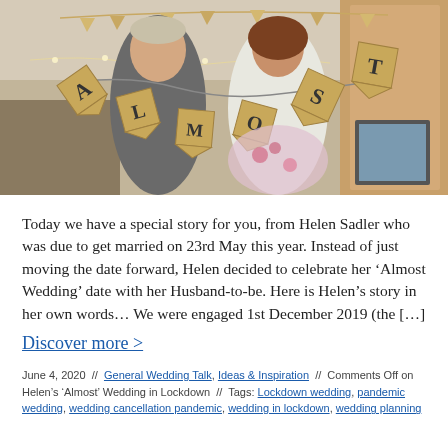[Figure (photo): A smiling couple holding up cardboard bunting letters spelling 'ALMOST' in a decorated indoor setting, suggesting a wedding celebration.]
Today we have a special story for you, from Helen Sadler who was due to get married on 23rd May this year. Instead of just moving the date forward, Helen decided to celebrate her ‘Almost Wedding’ date with her Husband-to-be. Here is Helen’s story in her own words… We were engaged 1st December 2019 (the […]
Discover more >
June 4, 2020  //  General Wedding Talk, Ideas & Inspiration  //  Comments Off on Helen’s ‘Almost’ Wedding in Lockdown  //  Tags: Lockdown wedding, pandemic wedding, wedding cancellation pandemic, wedding in lockdown, wedding planning